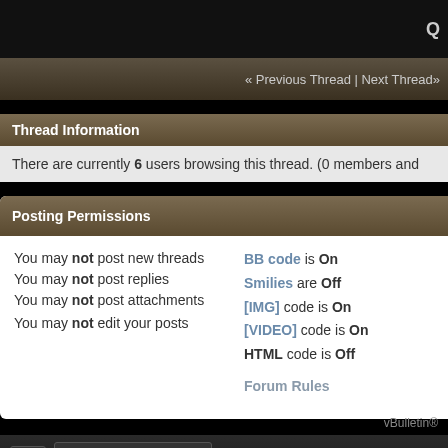« Previous Thread | Next Thread
Thread Information
There are currently 6 users browsing this thread. (0 members and
Posting Permissions
You may not post new threads
You may not post replies
You may not post attachments
You may not edit your posts
BB code is On
Smilies are Off
[IMG] code is On
[VIDEO] code is On
HTML code is Off
Forum Rules
Contact Us  http://foru
vBulletin®